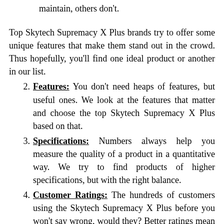maintain, others don't.
Top Skytech Supremacy X Plus brands try to offer some unique features that make them stand out in the crowd. Thus hopefully, you'll find one ideal product or another in our list.
2. Features: You don't need heaps of features, but useful ones. We look at the features that matter and choose the top Skytech Supremacy X Plus based on that.
3. Specifications: Numbers always help you measure the quality of a product in a quantitative way. We try to find products of higher specifications, but with the right balance.
4. Customer Ratings: The hundreds of customers using the Skytech Supremacy X Plus before you won't say wrong, would they? Better ratings mean better service